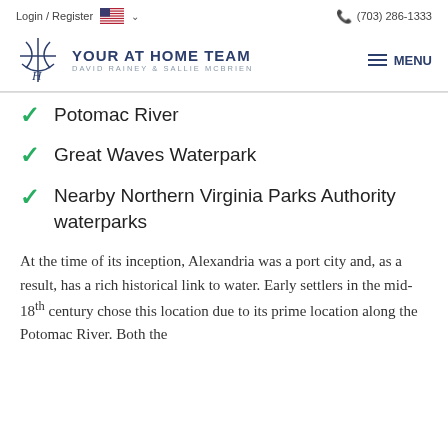Login / Register  🇺🇸 ∨    📞 (703) 286-1333
[Figure (logo): Your At Home Team logo with stylized plant/scissors icon. Text reads: YOUR AT HOME TEAM, DAVID RAINEY & SALLIE MCBRIEN. Menu button on the right.]
Potomac River
Great Waves Waterpark
Nearby Northern Virginia Parks Authority waterparks
At the time of its inception, Alexandria was a port city and, as a result, has a rich historical link to water. Early settlers in the mid-18th century chose this location due to its prime location along the Potomac River. Both the